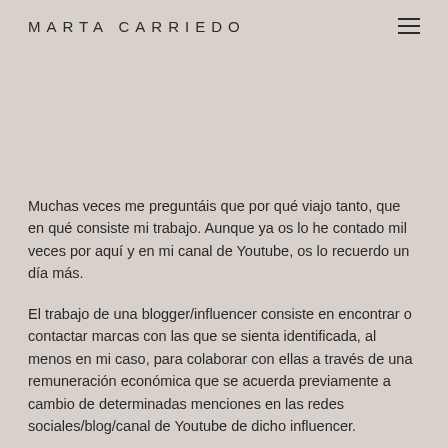MARTA CARRIEDO
Muchas veces me preguntáis que por qué viajo tanto, que en qué consiste mi trabajo. Aunque ya os lo he contado mil veces por aquí y en mi canal de Youtube, os lo recuerdo un día más.
El trabajo de una blogger/influencer consiste en encontrar o contactar marcas con las que se sienta identificada, al menos en mi caso, para colaborar con ellas a través de una remuneración económica que se acuerda previamente a cambio de determinadas menciones en las redes sociales/blog/canal de Youtube de dicho influencer.